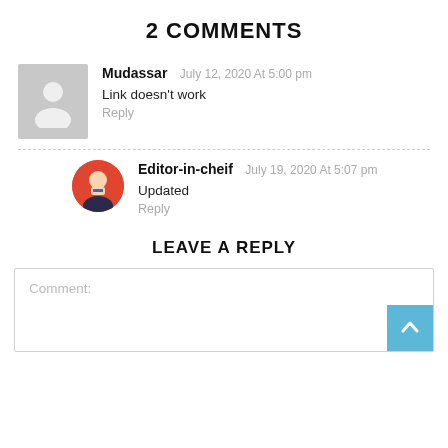2 COMMENTS
Mudassar  July 12, 2020 At 5:00 pm
Link doesn't work
Reply
Editor-in-cheif  July 19, 2020 At 5:07 pm
Updated
Reply
LEAVE A REPLY
Comment: